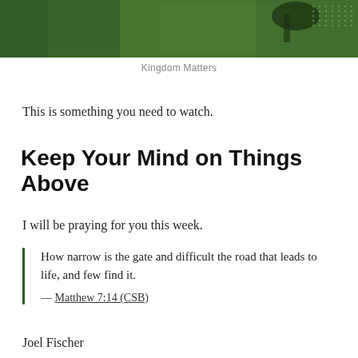[Figure (photo): Green-toned header image with dark overlapping rectangular shapes and a dotted pattern in the upper right corner]
Kingdom Matters
This is something you need to watch.
Keep Your Mind on Things Above
I will be praying for you this week.
How narrow is the gate and difficult the road that leads to life, and few find it.
— Matthew 7:14 (CSB)
Joel Fischer